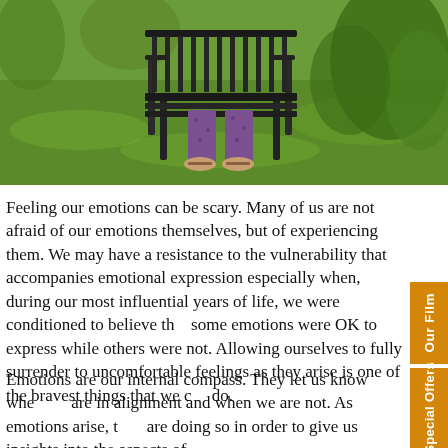[Figure (photo): Person sitting on a dark metal garden bench on grass, with green plants/trees in the background. Only the lower body (legs and feet with sandals wearing purple patterned pants) is visible.]
Feeling our emotions can be scary. Many of us are not afraid of our emotions themselves, but of experiencing them. We may have a resistance to the vulnerability that accompanies emotional expression especially when, during our most influential years of life, we were conditioned to believe that some emotions were OK to express while others were not. Allowing ourselves to fully surrender to uncomfortable feelings as they arise is one of the bravest things that we can do.
Emotions are our internal compass. They let us know when we are in alignment and when we are not. As emotions arise, they are doing so in order to give us insights into the aspects of